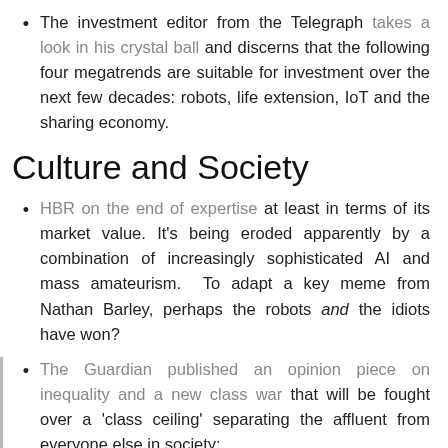The investment editor from the Telegraph takes a look in his crystal ball and discerns that the following four megatrends are suitable for investment over the next few decades: robots, life extension, IoT and the sharing economy.
Culture and Society
HBR on the end of expertise at least in terms of its market value. It's being eroded apparently by a combination of increasingly sophisticated AI and mass amateurism. To adapt a key meme from Nathan Barley, perhaps the robots and the idiots have won?
The Guardian published an opinion piece on inequality and a new class war that will be fought over a 'class ceiling' separating the affluent from everyone else in society: